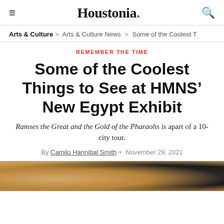Houstonia.
Arts & Culture > Arts & Culture News > Some of the Coolest T
REMEMBER THE TIME
Some of the Coolest Things to See at HMNS’ New Egypt Exhibit
Ramses the Great and the Gold of the Pharaohs is apart of a 10-city tour.
By Camilo Hannibal Smith • November 29, 2021
[Figure (photo): Partial view of Egyptian artifacts at the HMNS exhibit, showing close-up details of ancient objects]